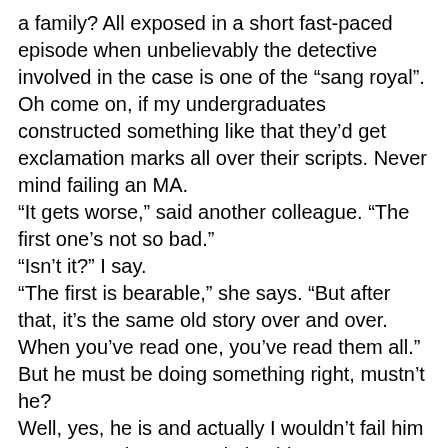a family? All exposed in a short fast-paced episode when unbelievably the detective involved in the case is one of the “sang royal”. Oh come on, if my undergraduates constructed something like that they’d get exclamation marks all over their scripts. Never mind failing an MA.
“It gets worse,” said another colleague. “The first one’s not so bad.”
“Isn’t it?” I say.
“The first is bearable,” she says. “But after that, it’s the same old story over and over. When you’ve read one, you’ve read them all.”
But he must be doing something right, mustn’t he?
Well, yes, he is and actually I wouldn’t fail him on a BA assignment. I’d give him 58. A strong 2.2. His plots are well worked out even if they’re infuriatingly formulaic and improbable. He handles dialogue well even if it’s often trite. His characters are consistent even if not well drawn and believable. He has control over his writing – or he’s well edited - because he doesn’t have the lack of consistency and lack of grammatical accuracy that so often spoils the work of our otherwise talented students. But oh my, their work is so much more exciting, so much more convincing